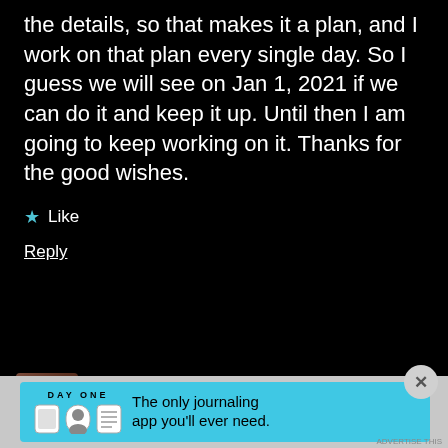the details, so that makes it a plan, and I work on that plan every single day. So I guess we will see on Jan 1, 2021 if we can do it and keep it up. Until then I am going to keep working on it. Thanks for the good wishes.
★ Like
Reply
rozinaspersiankitchen
[Figure (screenshot): Advertisement banner for Day One journaling app with cyan background, app icons, and text 'The only journaling app you'll ever need.']